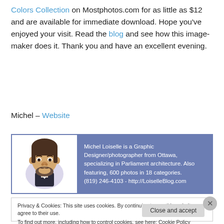Colors Collection on Mostphotos.com for as little as $12 and are available for immediate download. Hope you've enjoyed your visit. Read the blog and see how this image-maker does it. Thank you and have an excellent evening.
Michel – Website
[Figure (infographic): Author bio card with caricature portrait of Michel Loiselle on the left and blue background text panel on the right. Text: Michel Loiselle is a Graphic Designer/photographer from Ottawa, specializing in Parliament architecture. Also featuring, 600 photos in 18 categories. (819) 246-4103 - http://LoiselleBlog.com]
Privacy & Cookies: This site uses cookies. By continuing to use this website, you agree to their use. To find out more, including how to control cookies, see here: Cookie Policy